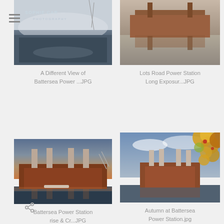[Figure (photo): Menu hamburger icon (three horizontal lines)]
[Figure (photo): Photo of the Millennium Dome / O2 Arena with Sophie Carter Photography logo text overlay, dark industrial building.]
[Figure (photo): Long exposure photo of Lots Road Power Station reflected in water, brown/rust colored building against soft sky.]
A Different View of Battersea Power ...JPG
Lots Road Power Station Long Exposur...JPG
[Figure (photo): Photo of Battersea Power Station at sunrise/dusk with four chimneys against orange sky, reflected in the Thames.]
[Figure (photo): Autumn photo of Battersea Power Station seen through colorful autumn foliage leaves, golden and green leaves in foreground.]
Battersea Power Station Sunrise & Cr...JPG
Autumn at Battersea Power Station.jpg
[Figure (illustration): Share icon (left-pointing arrow with dots)]